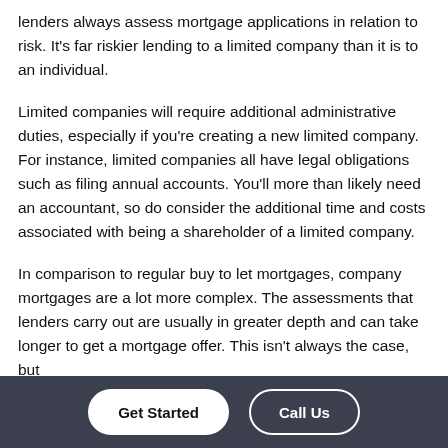lenders always assess mortgage applications in relation to risk. It's far riskier lending to a limited company than it is to an individual.
Limited companies will require additional administrative duties, especially if you're creating a new limited company. For instance, limited companies all have legal obligations such as filing annual accounts. You'll more than likely need an accountant, so do consider the additional time and costs associated with being a shareholder of a limited company.
In comparison to regular buy to let mortgages, company mortgages are a lot more complex. The assessments that lenders carry out are usually in greater depth and can take longer to get a mortgage offer. This isn't always the case, but
Get Started | Call Us